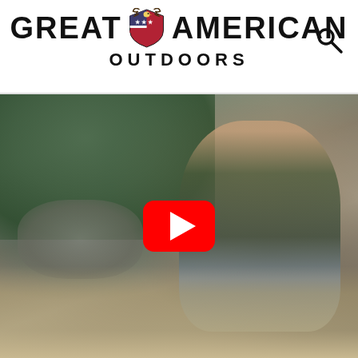Great American Outdoors
[Figure (screenshot): A bearded man sitting outdoors in a rocky, forested area, writing in a notebook, wearing a striped sweater. A YouTube play button overlay is centered on the image.]